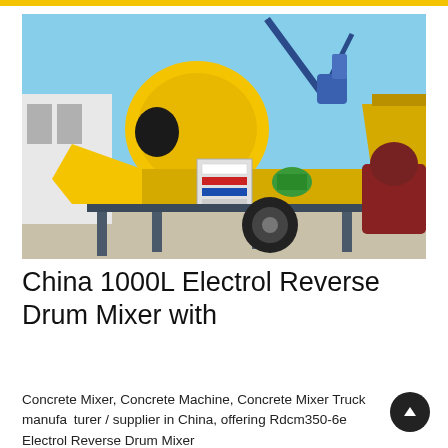[Figure (photo): Yellow concrete mixer machine with reverse drum, mounted on a wheeled trailer frame with stabilizer legs, control panel box, and conveyor belt attachment. Photographed outdoors in an industrial yard with blue sky background.]
China 1000L Electrol Reverse Drum Mixer with
Concrete Mixer, Concrete Machine, Concrete Mixer Truck manufacturer / supplier in China, offering Rdcm350-6e Electrol Reverse Drum Mixer